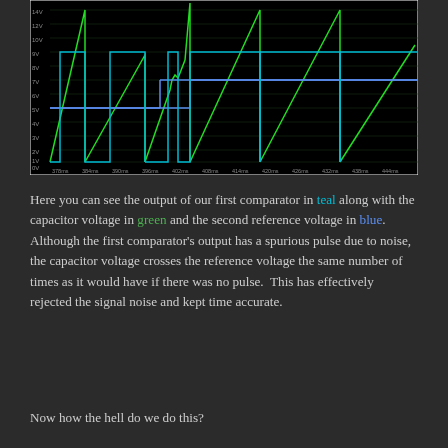[Figure (continuous-plot): Oscilloscope-style plot on black background showing three waveforms: teal (comparator output - digital square pulses), green (capacitor voltage - sawtooth ramps), and blue (second reference voltage - stepped horizontal line). X-axis spans approximately 378ms to 444ms. Y-axis spans 0V to 14V with gridlines.]
Here you can see the output of our first comparator in teal along with the capacitor voltage in green and the second reference voltage in blue.  Although the first comparator's output has a spurious pulse due to noise, the capacitor voltage crosses the reference voltage the same number of times as it would have if there was no pulse.  This has effectively rejected the signal noise and kept time accurate.
Now how the hell do we do this?